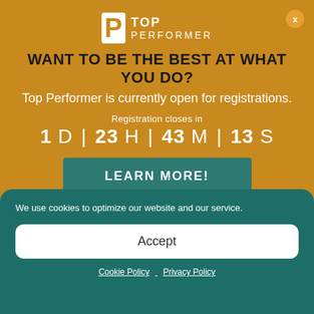[Figure (logo): Top Performer logo with white P icon and text TOP PERFORMER]
WANT TO BE THE BEST AT WHAT YOU DO?
Top Performer is currently open for registrations.
Registration closes in
1 D | 23 H | 43 M | 13 S
LEARN MORE!
We use cookies to optimize our website and our service.
Accept
Cookie Policy   Privacy Policy